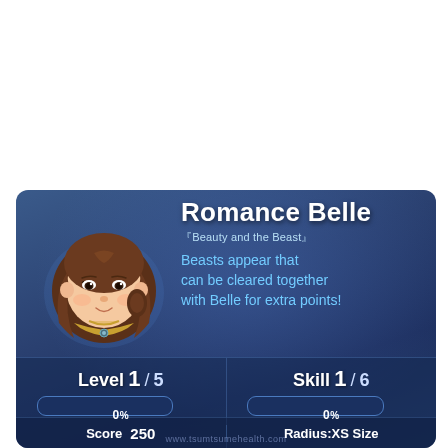Romance Belle
『Beauty and the Beast』 Beasts appear that can be cleared together with Belle for extra points!
Level  1/  5
Skill  1/  6
0%
0%
Score  250
Radius:XS Size